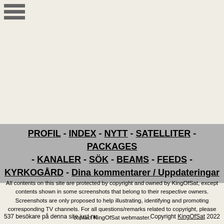[Figure (other): Hamburger menu icon with three horizontal grey bars]
PROFIL - INDEX - NYTT - SATELLITER - PACKAGES - KANALER - SÖK - BEAMS - FEEDS - KYRKOGÅRD - Dina kommentarer / Uppdateringar
All contents on this site are protected by copyright and owned by KingOfSat, except contents shown in some screenshots that belong to their respective owners. Screenshots are only proposed to help illustrating, identifying and promoting corresponding TV channels. For all questions/remarks related to copyright, please contact KingOfSat webmaster.
537 besökare på denna site just nu    Copyright KingOfSat 2022